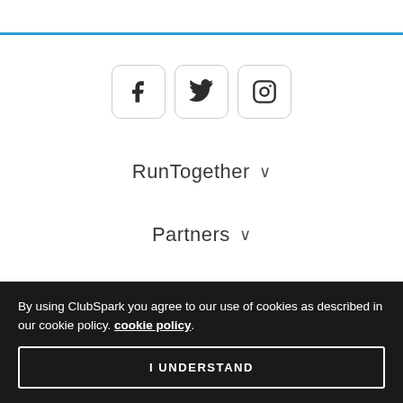[Figure (other): Horizontal blue divider line at top of page]
[Figure (other): Three social media icon buttons: Facebook (f), Twitter (bird), Instagram (camera) in rounded square borders]
RunTogether ∨
Partners ∨
Part of
By using ClubSpark you agree to our use of cookies as described in our cookie policy. cookie policy.
I UNDERSTAND